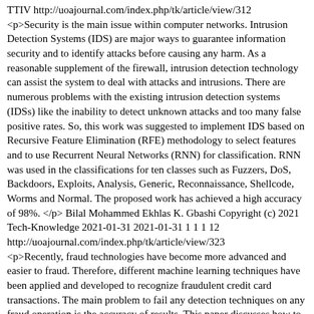TTIV http://uoajournal.com/index.php/tk/article/view/312 <p>Security is the main issue within computer networks. Intrusion Detection Systems (IDS) are major ways to guarantee information security and to identify attacks before causing any harm. As a reasonable supplement of the firewall, intrusion detection technology can assist the system to deal with attacks and intrusions. There are numerous problems with the existing intrusion detection systems (IDSs) like the inability to detect unknown attacks and too many false positive rates. So, this work was suggested to implement IDS based on Recursive Feature Elimination (RFE) methodology to select features and to use Recurrent Neural Networks (RNN) for classification. RNN was used in the classifications for ten classes such as Fuzzers, DoS, Backdoors, Exploits, Analysis, Generic, Reconnaissance, Shellcode, Worms and Normal. The proposed work has achieved a high accuracy of 98%. </p> Bilal Mohammed Ekhlas K. Gbashi Copyright (c) 2021 Tech-Knowledge 2021-01-31 2021-01-31 1 1 1 12 http://uoajournal.com/index.php/tk/article/view/323 <p>Recently, fraud technologies have become more advanced and easier to fraud. Therefore, different machine learning techniques have been applied and developed to recognize fraudulent credit card transactions. The main problem to fail any detection techniques on any fraud operation is the accuracy of results. This paper discusses how to improve fraud detection performance using machine learning algorithms by choosing the most appropriate algorithm for the detection fraud because it shows better